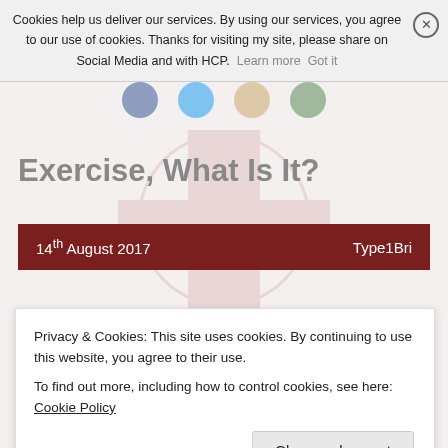Cookies help us deliver our services. By using our services, you agree to our use of cookies. Thanks for visiting my site, please share on Social Media and with HCP. Learn more  Got it
Exercise, What Is It?
14th August 2017   Type1Bri
Exercise, What Is It, And Why Y…
Privacy & Cookies: This site uses cookies. By continuing to use this website, you agree to their use.
To find out more, including how to control cookies, see here: Cookie Policy
Close and accept
because they worry about what other people they think of